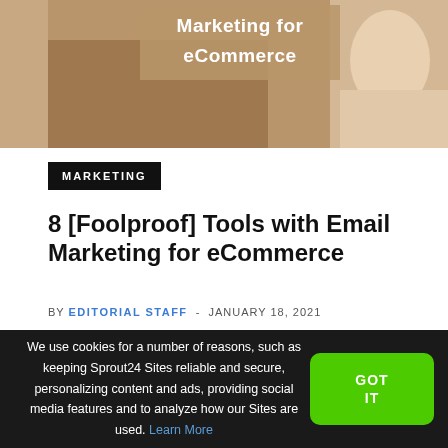[Figure (photo): Hero image showing a person with text overlay 'Marketing for eCommerce' on a tan/brown background]
MARKETING
8 [Foolproof] Tools with Email Marketing for eCommerce
BY EDITORIAL STAFF - JANUARY 18, 2021
We use cookies for a number of reasons, such as keeping Sprout24 Sites reliable and secure, personalizing content and ads, providing social media features and to analyze how our Sites are used. Learn More